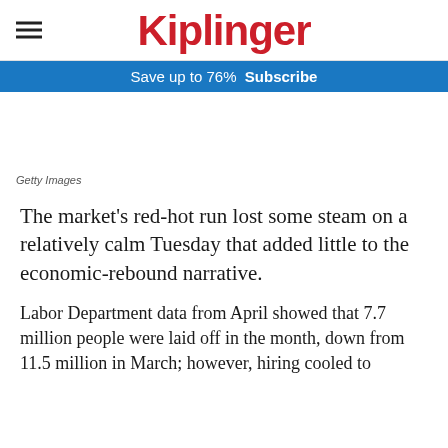Kiplinger
Save up to 76%  Subscribe
Getty Images
The market's red-hot run lost some steam on a relatively calm Tuesday that added little to the economic-rebound narrative.
Labor Department data from April showed that 7.7 million people were laid off in the month, down from 11.5 million in March; however, hiring cooled to